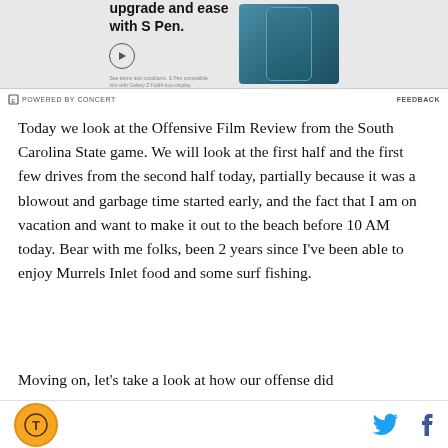[Figure (other): Advertisement banner for Samsung Galaxy Z Fold with S Pen, showing text 'upgrade and ease with S Pen.' with a circular play button and an image of the phone. Powered by Concert footer with Feedback link.]
Today we look at the Offensive Film Review from the South Carolina State game. We will look at the first half and the first few drives from the second half today, partially because it was a blowout and garbage time started early, and the fact that I am on vacation and want to make it out to the beach before 10 AM today. Bear with me folks, been 2 years since I've been able to enjoy Murrels Inlet food and some surf fishing.
Moving on, let's take a look at how our offense did
Logo | Twitter | Facebook